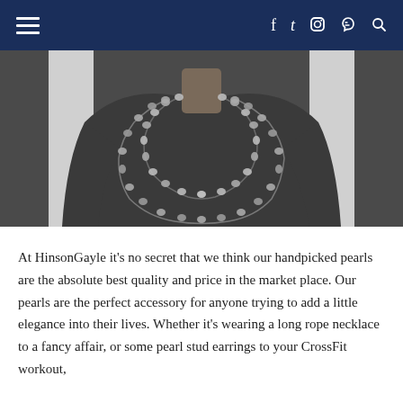≡ f t ☷ ℗ 🔍
[Figure (photo): Person wearing two strands of dark pearl necklaces over a gray top. The necklaces are long rope style with oval-shaped pearls.]
At HinsonGayle it's no secret that we think our handpicked pearls are the absolute best quality and price in the market place. Our pearls are the perfect accessory for anyone trying to add a little elegance into their lives. Whether it's wearing a long rope necklace to a fancy affair, or some pearl stud earrings to your CrossFit workout,